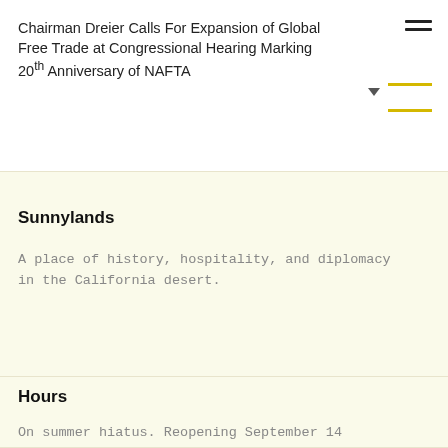Chairman Dreier Calls For Expansion of Global Free Trade at Congressional Hearing Marking 20th Anniversary of NAFTA
Sunnylands
A place of history, hospitality, and diplomacy in the California desert.
Hours
On summer hiatus. Reopening September 14